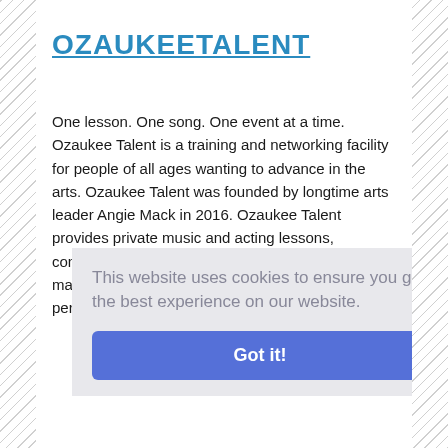OZAUKEETALENT
One lesson. One song. One event at a time. Ozaukee Talent is a training and networking facility for people of all ages wanting to advance in the arts. Ozaukee Talent was founded by longtime arts leader Angie Mack in 2016. Ozaukee Talent provides private music and acting lessons, contracted event marketing, contracted arts project management, consulting, arts public speaking and performing, hosts
This website uses cookies to ensure you get the best experience on our website.
Got it!